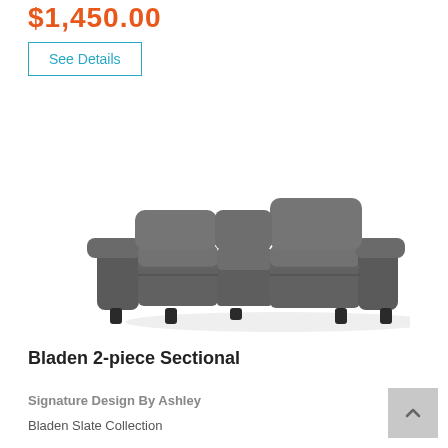$1,450.00
See Details
[Figure (photo): Gray leather Bladen 2-piece sectional sofa shown at an angle on white background]
Bladen 2-piece Sectional
Signature Design By Ashley
Bladen Slate Collection